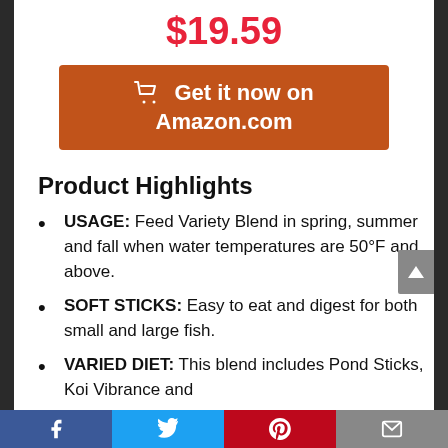$19.59
[Figure (other): Orange 'Get it now on Amazon.com' button with shopping cart icon]
Product Highlights
USAGE: Feed Variety Blend in spring, summer and fall when water temperatures are 50°F and above.
SOFT STICKS: Easy to eat and digest for both small and large fish.
VARIED DIET: This blend includes Pond Sticks, Koi Vibrance and
Facebook | Twitter | Pinterest | Email